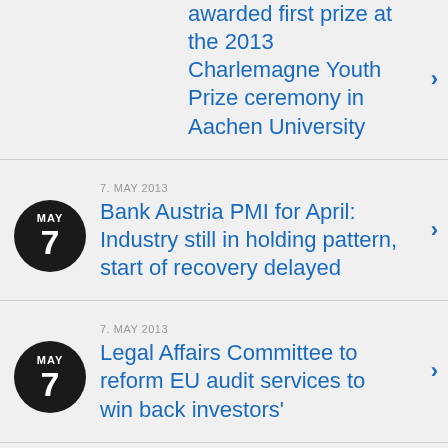awarded first prize at the 2013 Charlemagne Youth Prize ceremony in Aachen University
7. MAY 2013
Bank Austria PMI for April: Industry still in holding pattern, start of recovery delayed
7. MAY 2013
Legal Affairs Committee to reform EU audit services to win back investors'